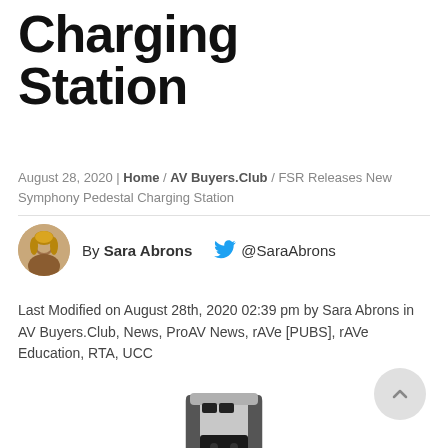Charging Station
August 28, 2020 | Home / AV Buyers.Club / FSR Releases New Symphony Pedestal Charging Station
By Sara Abrons  @SaraAbrons
Last Modified on August 28th, 2020 02:39 pm by Sara Abrons in AV Buyers.Club, News, ProAV News, rAVe [PUBS], rAVe Education, RTA, UCC
[Figure (photo): Product photo of FSR Symphony Pedestal Charging Station — a tall vertical tower unit with silver and black finish, featuring multiple power outlets and USB ports]